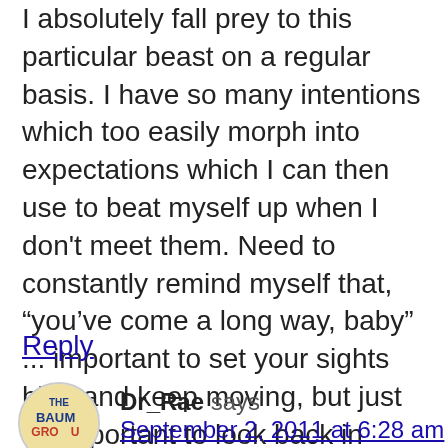I absolutely fall prey to this particular beast on a regular basis. I have so many intentions which too easily morph into expectations which I can then use to beat myself up when I don't meet them. Need to constantly remind myself that, “you’ve come a long way, baby” ... important to set your sights high and keep moving, but just as important to look back in appreciation of where you come and what you’ve done.
Reply
Dr_Rae says
September 2, 2011 at 6:28 am